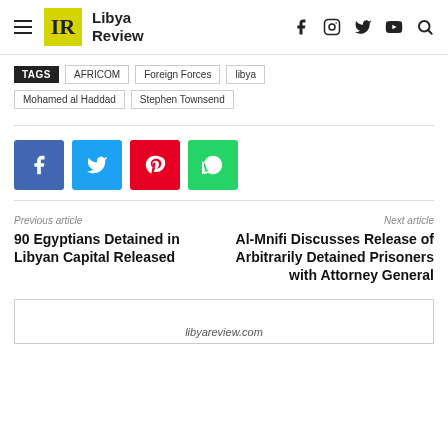Libya Review
TAGS  AFRICOM  Foreign Forces  libya  Mohamed al Haddad  Stephen Townsend
[Figure (other): Social share buttons: Facebook (blue), Twitter (light blue), Pinterest (red), WhatsApp (green)]
Previous article
90 Egyptians Detained in Libyan Capital Released
Next article
Al-Mnifi Discusses Release of Arbitrarily Detained Prisoners with Attorney General
[Figure (other): Bottom box with libyareview.com text partially visible]